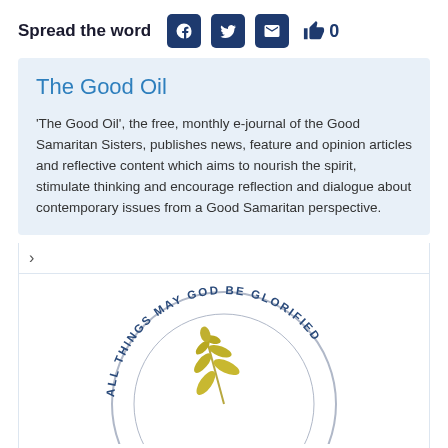Spread the word
The Good Oil
'The Good Oil', the free, monthly e-journal of the Good Samaritan Sisters, publishes news, feature and opinion articles and reflective content which aims to nourish the spirit, stimulate thinking and encourage reflection and dialogue about contemporary issues from a Good Samaritan perspective.
[Figure (logo): Good Samaritan Sisters circular logo with wheat/olive branch in centre and text 'ALL THINGS MAY GOD BE GLORIFIED' around the edge]